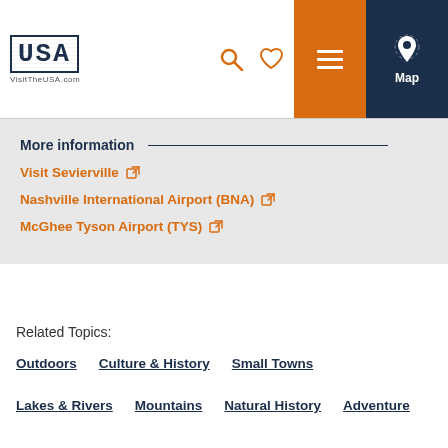VisitTheUSA.com — Navigation header with logo, search, heart, menu, and Map icons
More information
Visit Sevierville
Nashville International Airport (BNA)
McGhee Tyson Airport (TYS)
Related Topics:
Outdoors
Culture & History
Small Towns
Lakes & Rivers
Mountains
Natural History
Adventure